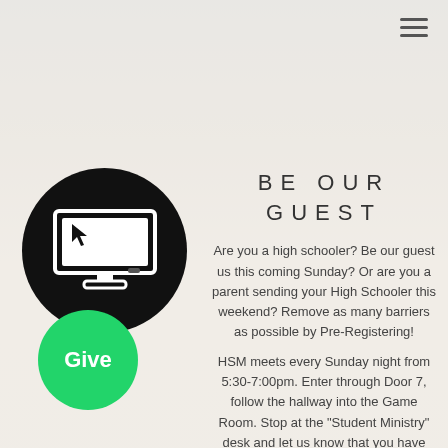[Figure (illustration): Black circle with white monitor/TV icon showing a screen with cursor]
BE OUR GUEST
Are you a high schooler? Be our guest us this coming Sunday? Or are you a parent sending your High Schooler this weekend? Remove as many barriers as possible by Pre-Registering!
HSM meets every Sunday night from 5:30-7:00pm. Enter through Door 7, follow the hallway into the Game Room. Stop at the "Student Ministry" desk and let us know that you have Pre-Registered!
[Figure (illustration): Green circle button with white text 'Give']